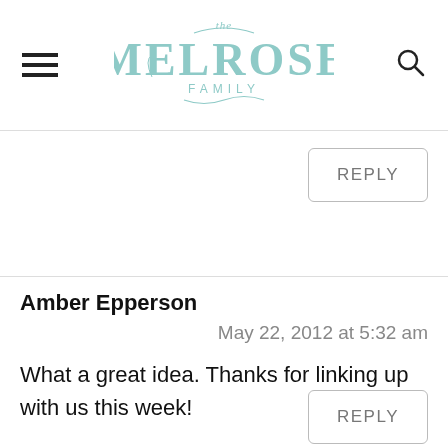[Figure (logo): The Melrose Family blog logo in teal/mint color with decorative script]
REPLY
Amber Epperson
May 22, 2012 at 5:32 am
What a great idea. Thanks for linking up with us this week!
REPLY